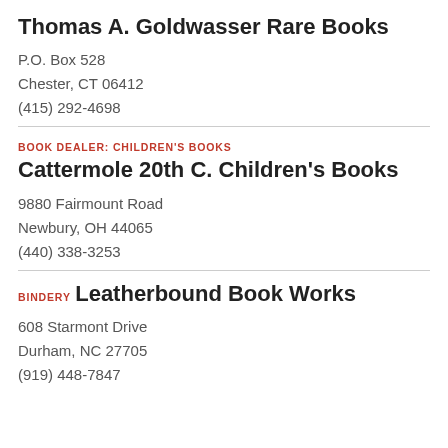Thomas A. Goldwasser Rare Books
P.O. Box 528
Chester, CT 06412
(415) 292-4698
BOOK DEALER: CHILDREN'S BOOKS
Cattermole 20th C. Children's Books
9880 Fairmount Road
Newbury, OH 44065
(440) 338-3253
BINDERY
Leatherbound Book Works
608 Starmont Drive
Durham, NC 27705
(919) 448-7847